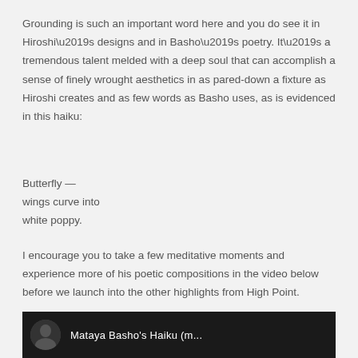Grounding is such an important word here and you do see it in Hiroshi’s designs and in Basho’s poetry. It’s a tremendous talent melded with a deep soul that can accomplish a sense of finely wrought aesthetics in as pared-down a fixture as Hiroshi creates and as few words as Basho uses, as is evidenced in this haiku:
Butterfly —
wings curve into
white poppy.
I encourage you to take a few meditative moments and experience more of his poetic compositions in the video below before we launch into the other highlights from High Point.
[Figure (screenshot): Dark video thumbnail showing a circular profile image and the partial text 'Mataya Basho's Haiku (m...' in white on a black background.]